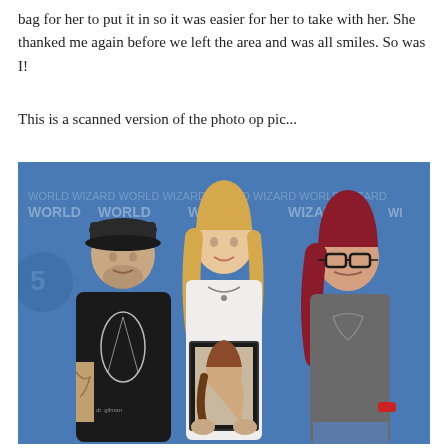bag for her to put it in so it was easier for her to take with her. She thanked me again before we left the area and was all smiles. So was I!
This is a scanned version of the photo op pic...
[Figure (photo): A photo of three people standing in front of a blue step-and-repeat banner with 'WORLD WIZARD' text. On the left is a man wearing a black cap and black t-shirt with a graphic design. In the center is a tall blonde woman in a white t-shirt holding a framed portrait artwork of a woman. On the right is a woman with red hair wearing glasses and a gray t-shirt.]